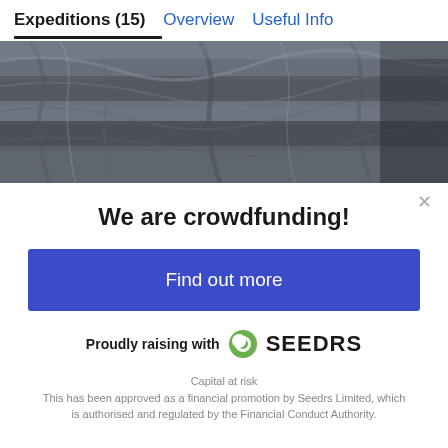Expeditions (15)  Overview  Useful Info
[Figure (photo): Close-up photograph of dark grey rocky mountain cliff face texture]
×
We are crowdfunding!
Find out more
Proudly raising with SEEDRS
Capital at risk
This has been approved as a financial promotion by Seedrs Limited, which is authorised and regulated by the Financial Conduct Authority.